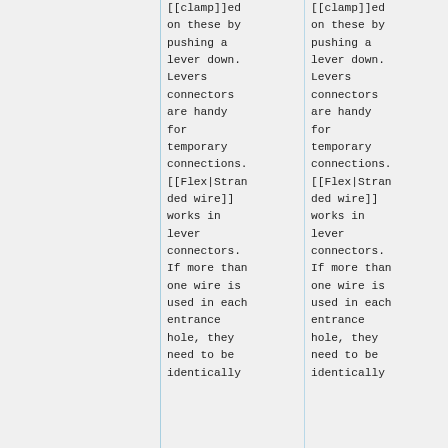[[clamp]]ed on these by pushing a lever down. Levers connectors are handy for temporary connections. [[Flex|Stranded wire]] works in lever connectors. If more than one wire is used in each entrance hole, they need to be identically
[[clamp]]ed on these by pushing a lever down. Levers connectors are handy for temporary connections. [[Flex|Stranded wire]] works in lever connectors. If more than one wire is used in each entrance hole, they need to be identically